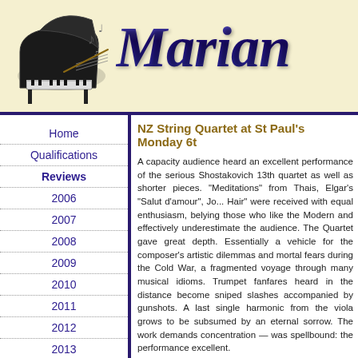[Figure (illustration): Website header with grand piano illustration and music notes on left, and stylized italic blue text 'Marian' on right, on a cream/yellow background]
Home
Qualifications
Reviews
2006
2007
2008
2009
2010
2011
2012
2013
2014
NZ String Quartet at St Paul's Monday 6t
A capacity audience heard an excellent performance of the serious Shostakovich 13th quartet as well as shorter pieces. "Meditations" from Thais, Elgar's "Salut d'amour", Jo... Hair" were received with equal enthusiasm, belying those who like the Modern and effectively underestimate the audience. The Quartet gave great depth. Essentially a vehicle for the composer's artistic dilemmas and mortal fears during the Cold War, a fragmented voyage through many musical idioms. Trumpet fanfares heard in the distance become sniped slashes accompanied by gunshots. A last single harmonic from the viola grows to be subsumed by an eternal sorrow. The work demands concentration — was spellbound: the performance excellent.
Bravo.
Massenet was also beautifully performed with Ro... dilemmas it raises are perhaps no less important th... being played with less conviction and commitment...